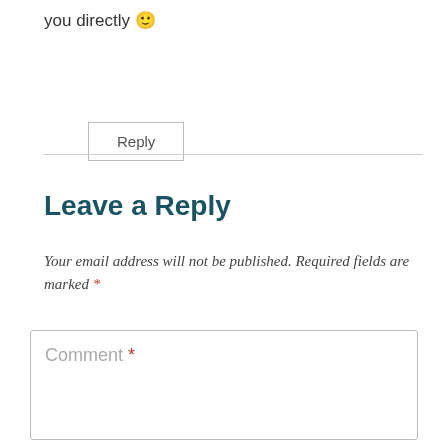you directly 🙂
Reply
Leave a Reply
Your email address will not be published. Required fields are marked *
Comment *